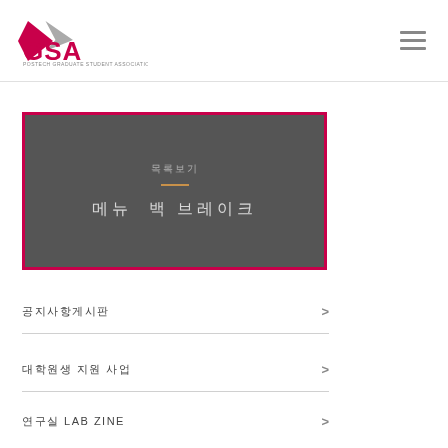[Figure (logo): GSA - POSTECH Graduate Student Association logo with pink and grey arrow shapes]
[Figure (infographic): Dark grey banner box with pink border containing Korean text menu title and subtitle]
공지사항게시판
대학원생 지원 사업
연구실 LAB ZINE